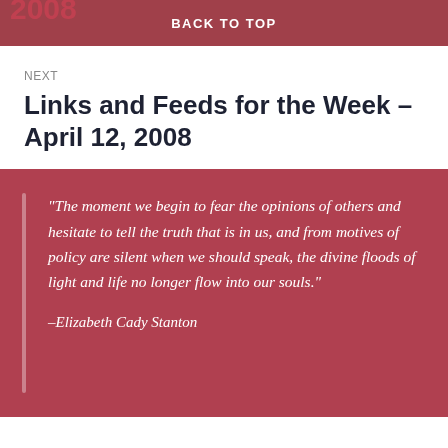BACK TO TOP
NEXT
Links and Feeds for the Week – April 12, 2008
"The moment we begin to fear the opinions of others and hesitate to tell the truth that is in us, and from motives of policy are silent when we should speak, the divine floods of light and life no longer flow into our souls."

–Elizabeth Cady Stanton